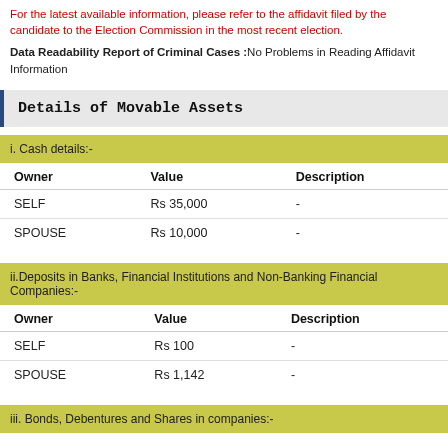For the latest available information, please refer to the affidavit filed by the candidate to the Election Commission in the most recent election.
Data Readability Report of Criminal Cases :No Problems in Reading Affidavit Information
Details of Movable Assets
| Owner | Value | Description |
| --- | --- | --- |
| SELF | Rs 35,000 | - |
| SPOUSE | Rs 10,000 | - |
| Owner | Value | Description |
| --- | --- | --- |
| SELF | Rs 100 | - |
| SPOUSE | Rs 1,142 | - |
iii. Bonds, Debentures and Shares in companies:-